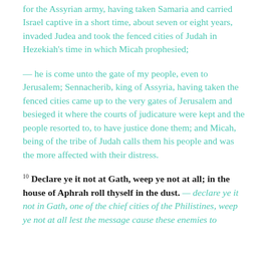for the Assyrian army, having taken Samaria and carried Israel captive in a short time, about seven or eight years, invaded Judea and took the fenced cities of Judah in Hezekiah's time in which Micah prophesied;
— he is come unto the gate of my people, even to Jerusalem; Sennacherib, king of Assyria, having taken the fenced cities came up to the very gates of Jerusalem and besieged it where the courts of judicature were kept and the people resorted to, to have justice done them; and Micah, being of the tribe of Judah calls them his people and was the more affected with their distress.
10 Declare ye it not at Gath, weep ye not at all; in the house of Aphrah roll thyself in the dust. — declare ye it not in Gath, one of the chief cities of the Philistines, weep ye not at all lest the message cause these enemies to